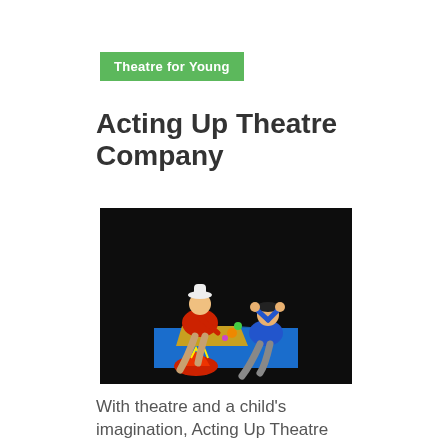Theatre for Young
Acting Up Theatre Company
[Figure (photo): Two performers in costumes on a dark stage. One person wearing a red polo shirt and white hat kneels on a blue-draped table, while another person in a blue shirt crouches beside it. Colorful props and hats are scattered on the table.]
With theatre and a child's imagination, Acting Up Theatre